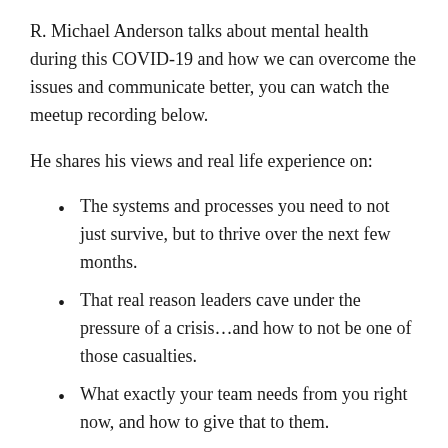R. Michael Anderson talks about mental health during this COVID-19 and how we can overcome the issues and communicate better, you can watch the meetup recording below.
He shares his views and real life experience on:
The systems and processes you need to not just survive, but to thrive over the next few months.
That real reason leaders cave under the pressure of a crisis…and how to not be one of those casualties.
What exactly your team needs from you right now, and how to give that to them.
How to find another level of leadership within yourself in just a few quick steps.